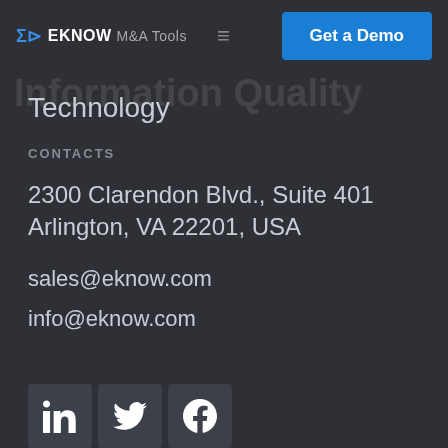EKNOW M&A Tools | Get a Demo
Technology
CONTACTS
2300 Clarendon Blvd., Suite 401 Arlington, VA 22201, USA
sales@eknow.com
info@eknow.com
[Figure (other): Social media icons: LinkedIn, Twitter, Facebook]